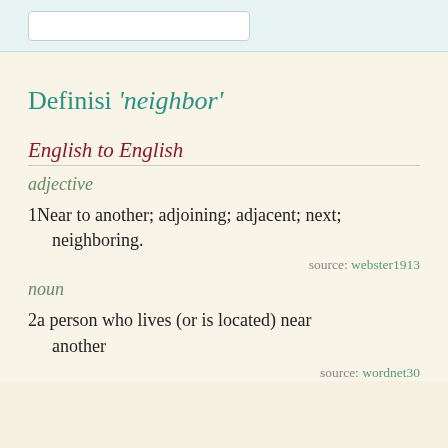Definisi 'neighbor'
English to English
adjective
1Near to another; adjoining; adjacent; next; neighboring.
source: webster1913
noun
2a person who lives (or is located) near another
source: wordnet30